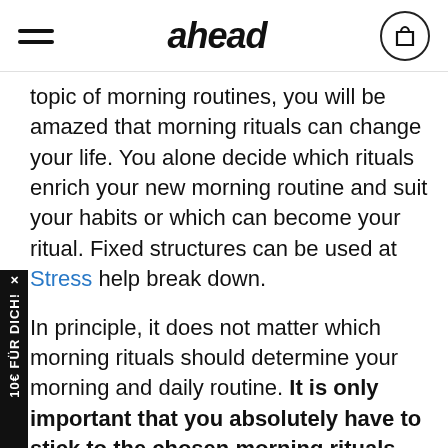ahead
topic of morning routines, you will be amazed that morning rituals can change your life. You alone decide which rituals enrich your new morning routine and suit your habits or which can become your ritual. Fixed structures can be used at Stress help break down.
In principle, it does not matter which morning rituals should determine your morning and daily routine. It is only important that you absolutely have to stick to the chosen morning rituals. This is the only way they can become morning routines and facilitate the start of the day